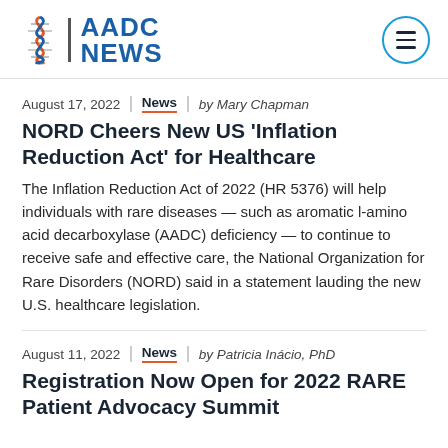AADC NEWS
August 17, 2022 | News | by Mary Chapman
NORD Cheers New US 'Inflation Reduction Act' for Healthcare
The Inflation Reduction Act of 2022 (HR 5376) will help individuals with rare diseases — such as aromatic l-amino acid decarboxylase (AADC) deficiency — to continue to receive safe and effective care, the National Organization for Rare Disorders (NORD) said in a statement lauding the new U.S. healthcare legislation.
August 11, 2022 | News | by Patricia Inácio, PhD
Registration Now Open for 2022 RARE Patient Advocacy Summit